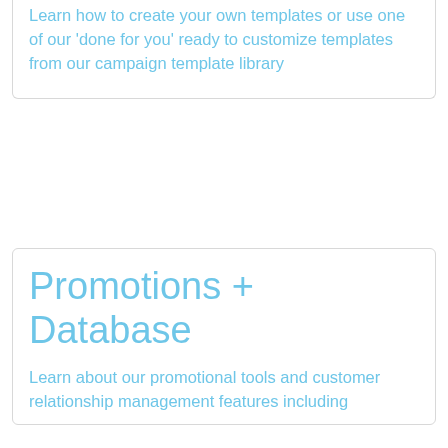Learn how to create your own templates or use one of our 'done for you' ready to customize templates from our campaign template library
Promotions + Database
Learn about our promotional tools and customer relationship management features including